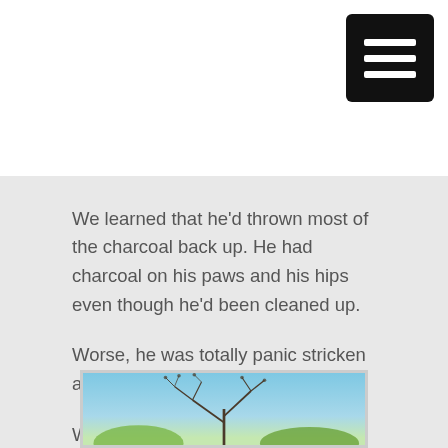[Figure (other): Black hamburger menu icon button in top-right corner]
We learned that he'd thrown most of the charcoal back up. He had charcoal on his paws and his hips even though he'd been cleaned up.
Worse, he was totally panic stricken and his eyes were wild.
We looked at each other in shock. This was not the same dog we had handed over to them two hours before.
[Figure (photo): Photo of bare tree branches against a blue sky with some green foliage at the bottom]